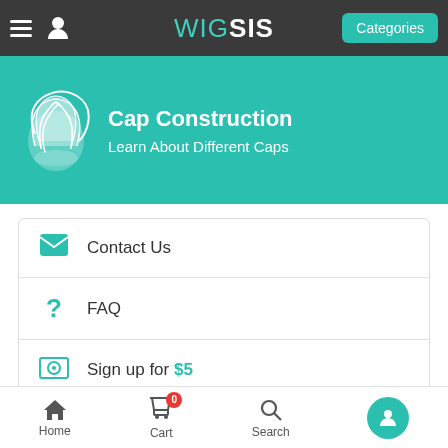WIG SIS — Categories
[Figure (illustration): Teal banner with wig icon on left, title 'Cap Construction' and subtitle 'Learn About Different Caps']
Contact Us
FAQ
Sign up for $5
Free Shipping > 300$
TOP OF PAGE
Home  Cart 0  Search